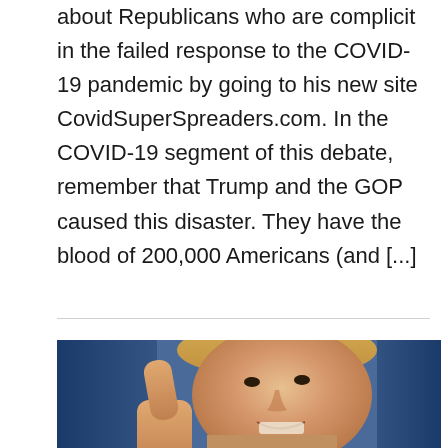about Republicans who are complicit in the failed response to the COVID-19 pandemic by going to his new site CovidSuperSpreaders.com. In the COVID-19 segment of this debate, remember that Trump and the GOP caused this disaster. They have the blood of 200,000 Americans (and [...]
Read more ›
[Figure (photo): Close-up photo of a man with blonde hair giving a thumbs up gesture, with a blue curtain/drape in the background]